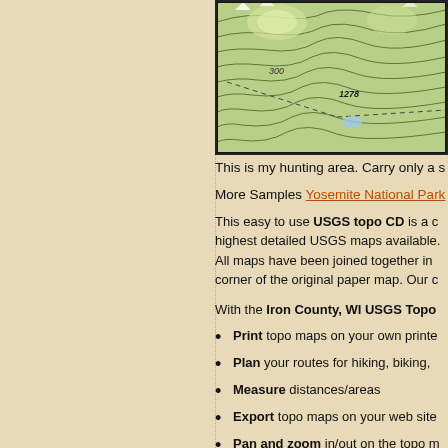[Figure (map): USGS topographic map showing contour lines, elevation marker 1278, trails, and terrain features for a hunting area in Iron County, WI]
This is my hunting area. Carry only a s
More Samples Yosemite National Park
This easy to use USGS topo CD is a c highest detailed USGS maps available. All maps have been joined together in corner of the original paper map. Our c
With the Iron County, WI USGS Topo
Print topo maps on your own printe
Plan your routes for hiking, biking,
Measure distances/areas
Export topo maps on your web site
Pan and zoom in/out on the topo m